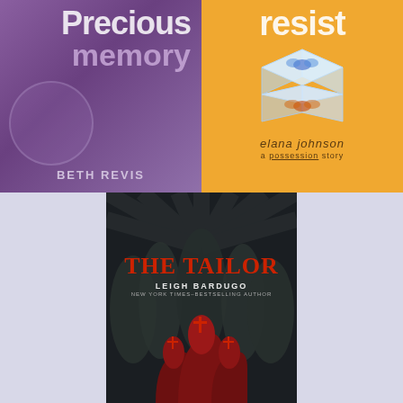[Figure (illustration): Book cover: 'Precious Memory' by Beth Revis. Purple gradient background with large white/light purple title text and author name at bottom.]
[Figure (illustration): Book cover: 'resist' by Elana Johnson. Orange/yellow background with ice cubes containing butterflies, author name at bottom.]
[Figure (illustration): Book cover: 'The Tailor' by Leigh Bardugo, New York Times-Bestselling Author. Dark background with stylized dark figures/domes and red onion-dome architecture at bottom, red gothic title text.]